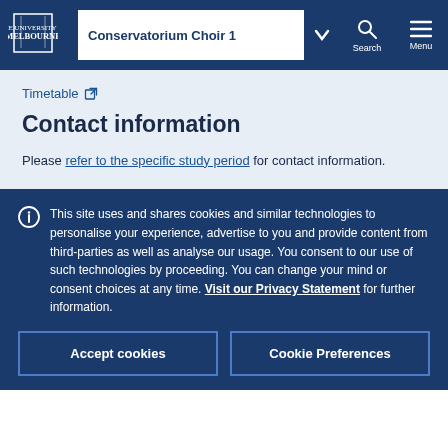Conservatorium Choir 1
Timetable
Contact information
Please refer to the specific study period for contact information.
This site uses and shares cookies and similar technologies to personalise your experience, advertise to you and provide content from third-parties as well as analyse our usage. You consent to our use of such technologies by proceeding. You can change your mind or consent choices at any time. Visit our Privacy Statement for further information.
Accept cookies
Cookie Preferences